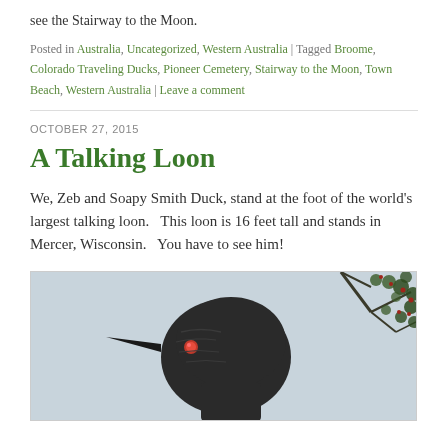see the Stairway to the Moon.
Posted in Australia, Uncategorized, Western Australia | Tagged Broome, Colorado Traveling Ducks, Pioneer Cemetery, Stairway to the Moon, Town Beach, Western Australia | Leave a comment
OCTOBER 27, 2015
A Talking Loon
We, Zeb and Soapy Smith Duck, stand at the foot of the world's largest talking loon.   This loon is 16 feet tall and stands in Mercer, Wisconsin.   You have to see him!
[Figure (photo): Close-up photograph of a large dark bird sculpture (loon) with a red eye, with tree branches visible in the upper right background against a light sky.]